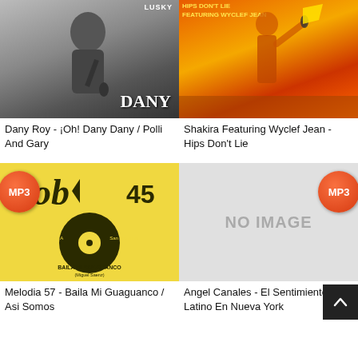[Figure (photo): Black and white photo of Dany Roy holding a microphone, with 'LUSKY' text at top and 'DANY' text at bottom right - album cover]
[Figure (photo): Shakira Featuring Wyclef Jean album cover - orange/red background with performer on stage]
Dany Roy - ¡Oh! Dany Dany / Polli And Gary
Shakira Featuring Wyclef Jean - Hips Don't Lie
[Figure (photo): Yellow Job record label 45 RPM vinyl - Baila Mi Guaguanco / Asi Somos, with MP3 badge]
[Figure (photo): No image placeholder - gray background with NO IMAGE text, with MP3 badge]
Melodia 57 - Baila Mi Guaguanco / Asi Somos
Angel Canales - El Sentimiento Del Latino En Nueva York